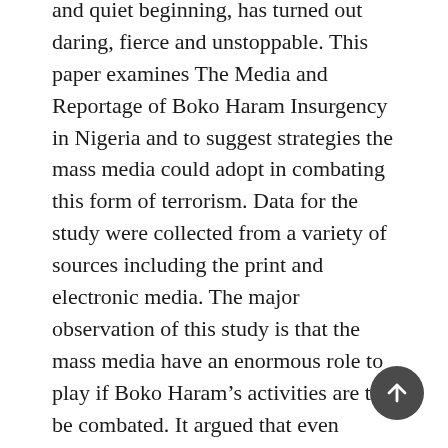and quiet beginning, has turned out daring, fierce and unstoppable. This paper examines The Media and Reportage of Boko Haram Insurgency in Nigeria and to suggest strategies the mass media could adopt in combating this form of terrorism. Data for the study were collected from a variety of sources including the print and electronic media. The major observation of this study is that the mass media have an enormous role to play if Boko Haram's activities are to be combated. It argued that even though the media houses are just doing their job – reporting the incident(s) as they occur, thus keeping the citizens abreast of facts; the rate at which news keeps coming regarding the activities of the sect has portrayed the media as information dissemination and terror campaign spread. It also argued that the ceaseless reporting has not translated to a decrease in the activities of the sect or increase in the level of